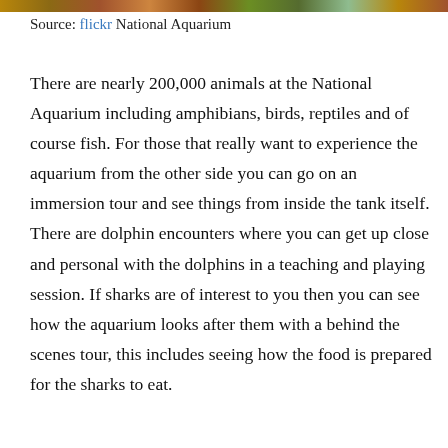[Figure (photo): Partial image strip at top of page showing what appears to be aquarium or nature scene]
Source: flickr National Aquarium
There are nearly 200,000 animals at the National Aquarium including amphibians, birds, reptiles and of course fish. For those that really want to experience the aquarium from the other side you can go on an immersion tour and see things from inside the tank itself. There are dolphin encounters where you can get up close and personal with the dolphins in a teaching and playing session. If sharks are of interest to you then you can see how the aquarium looks after them with a behind the scenes tour, this includes seeing how the food is prepared for the sharks to eat.